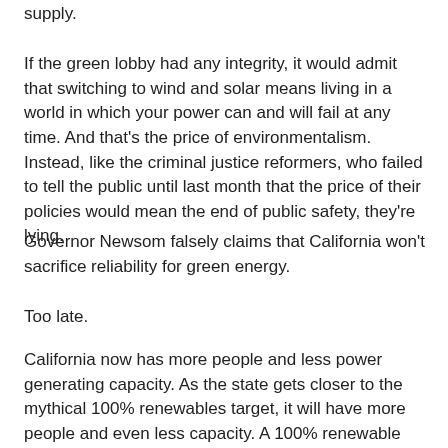supply.
If the green lobby had any integrity, it would admit that switching to wind and solar means living in a world in which your power can and will fail at any time. And that's the price of environmentalism. Instead, like the criminal justice reformers, who failed to tell the public until last month that the price of their policies would mean the end of public safety, they're lying.
Governor Newsom falsely claims that California won't sacrifice reliability for green energy.
Too late.
California now has more people and less power generating capacity. As the state gets closer to the mythical 100% renewables target, it will have more people and even less capacity. A 100% renewable energy grid is a 100% unreliable grid that will be going down on a regular basis.
None of that will be fixed. Instead there will be slogans to